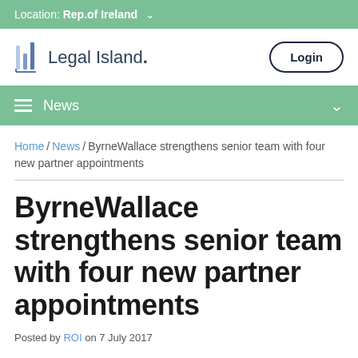Location: Rep.of Ireland
[Figure (logo): Legal Island logo with stylized bar chart icon and text 'Legal Island.']
News
Home / News / ByrneWallace strengthens senior team with four new partner appointments
ByrneWallace strengthens senior team with four new partner appointments
Posted by ROI on 7 July 2017